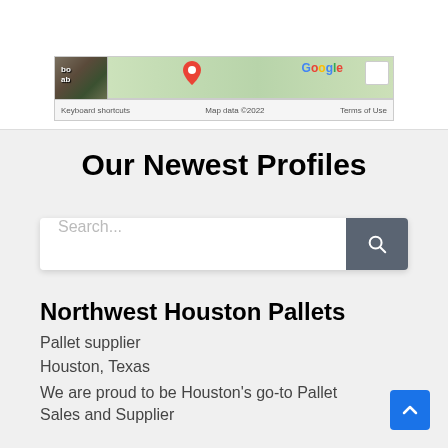[Figure (screenshot): Bottom of a Google Maps embed showing map tiles, a photo thumbnail, Google logo, keyboard shortcuts, map data ©2022, and Terms of Use bar]
Our Newest Profiles
[Figure (screenshot): Search bar with placeholder text 'Search...' and a dark grey search button with magnifying glass icon]
Northwest Houston Pallets
Pallet supplier
Houston, Texas
We are proud to be Houston's go-to Pallet Sales and Supplier